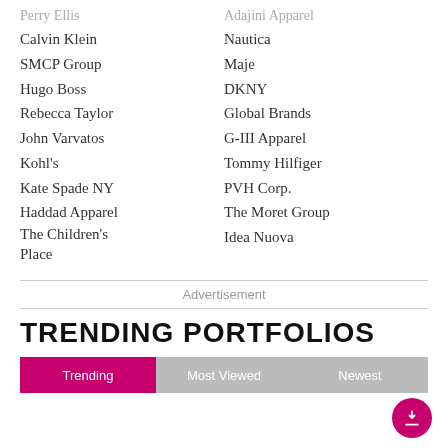Perry Ellis
Adajini Apparel
Calvin Klein
Nautica
SMCP Group
Maje
Hugo Boss
DKNY
Rebecca Taylor
Global Brands
John Varvatos
G-III Apparel
Kohl's
Tommy Hilfiger
Kate Spade NY
PVH Corp.
Haddad Apparel
The Moret Group
The Children's Place
Idea Nuova
Advertisement
TRENDING PORTFOLIOS
Trending | Most Viewed | Newest